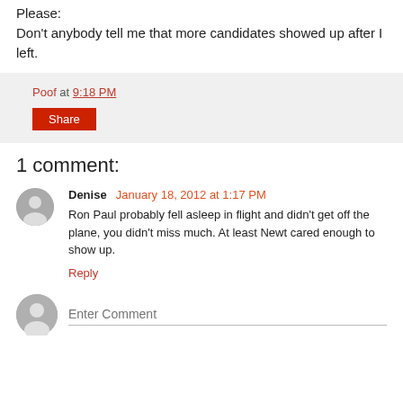Please:
Don't anybody tell me that more candidates showed up after I left.
Poof at 9:18 PM
Share
1 comment:
Denise  January 18, 2012 at 1:17 PM
Ron Paul probably fell asleep in flight and didn't get off the plane, you didn't miss much. At least Newt cared enough to show up.
Reply
Enter Comment